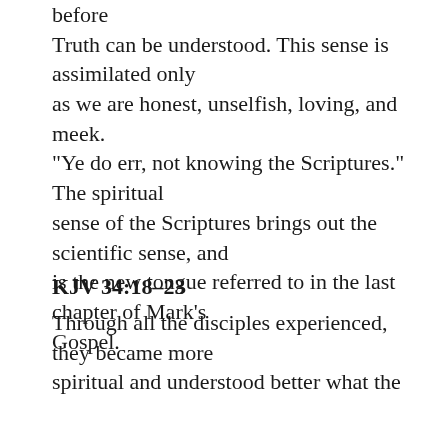before Truth can be understood. This sense is assimilated only as we are honest, unselfish, loving, and meek. "Ye do err, not knowing the Scriptures." The spiritual sense of the Scriptures brings out the scientific sense, and is the new tongue referred to in the last chapter of Mark's Gospel.
KJV 34:18-23
Through all the disciples experienced, they became more spiritual and understood better what the